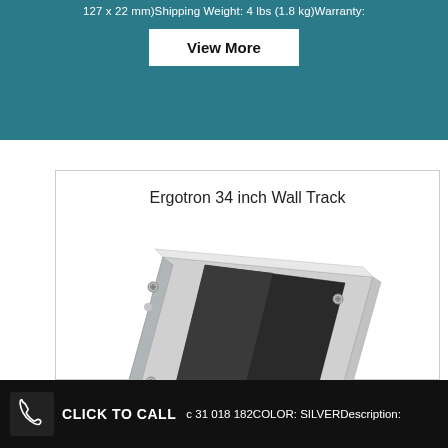127 x 22 mm)Shipping Weight: 4 lbs (1.8 kg)Warranty:
View More
Ergotron 34 inch Wall Track
[Figure (photo): Ergotron 34 inch Wall Track - a silver aluminum wall-mounted track with a black center channel, shown at an angle]
c 31 018 182COLOR: SILVERDescription:
CLICK TO CALL